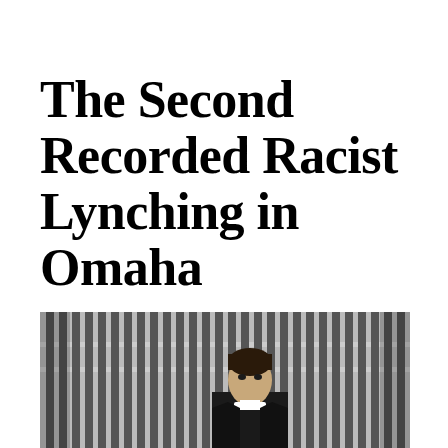The Second Recorded Racist Lynching in Omaha
[Figure (photo): Black and white photograph of a man standing in front of prison cell bars. The man appears to be wearing dark clothing with a clerical collar. The bars of the cell are clearly visible behind him, suggesting this is a jail or prison setting.]